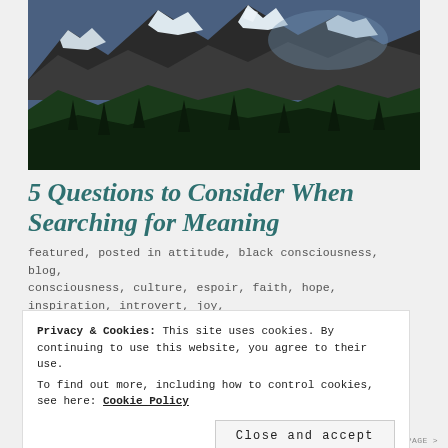[Figure (photo): Mountain landscape with snow-capped peaks, rocky slopes, conifer forest in valley, viewed from below through trees]
5 Questions to Consider When Searching for Meaning
featured, posted in attitude, black consciousness, blog, consciousness, culture, espoir, faith, hope, inspiration, introvert, joy,
Privacy & Cookies: This site uses cookies. By continuing to use this website, you agree to their use.
To find out more, including how to control cookies, see here: Cookie Policy
Close and accept